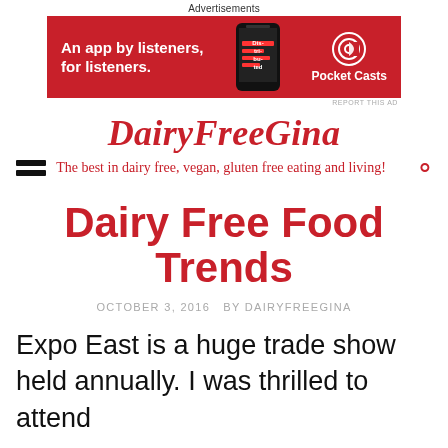Advertisements
[Figure (other): Pocket Casts advertisement banner: red background with text 'An app by listeners, for listeners.' and Pocket Casts logo on right, phone image in center]
REPORT THIS AD
DairyFreeGina
The best in dairy free, vegan, gluten free eating and living!
Dairy Free Food Trends
OCTOBER 3, 2016   BY DAIRYFREEGINA
Expo East is a huge trade show held annually. I was thrilled to attend